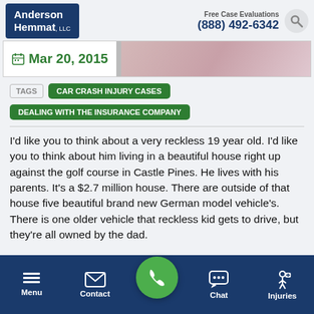[Figure (logo): Anderson Hemmat LLC law firm logo — white text on dark blue background]
Free Case Evaluations (888) 492-6342
[Figure (photo): Header hero image showing a person, partially visible. Date shown: Mar 20, 2015]
TAGS  CAR CRASH INJURY CASES
DEALING WITH THE INSURANCE COMPANY
I'd like you to think about a very reckless 19 year old. I'd like you to think about him living in a beautiful house right up against the golf course in Castle Pines. He lives with his parents. It's a $2.7 million house. There are outside of that house five beautiful brand new German model vehicle's. There is one older vehicle that reckless kid gets to drive, but they're all owned by the dad.
[Figure (screenshot): Bottom navigation bar with Menu, Contact, Call (green circle), Chat, and Injuries icons on dark blue background]